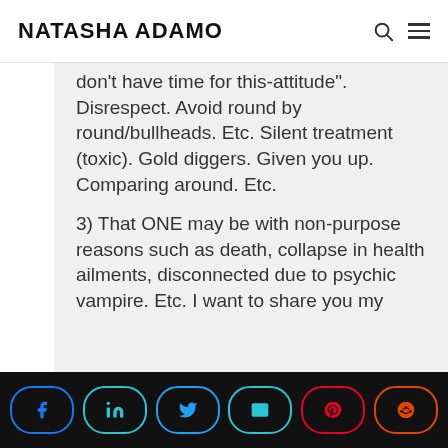NATASHA ADAMO
don't have time for this-attitude". Disrespect. Avoid round by round/bullheads. Etc. Silent treatment (toxic). Gold diggers. Given you up. Comparing around. Etc.
3) That ONE may be with non-purpose reasons such as death, collapse in health ailments, disconnected due to psychic vampire. Etc. I want to share you my